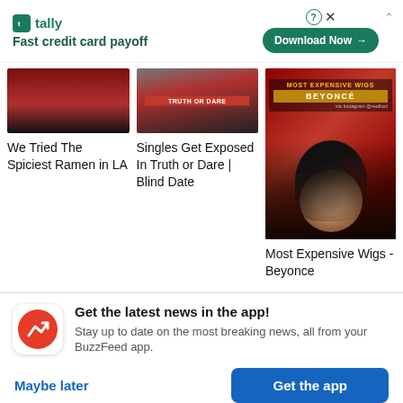[Figure (screenshot): Tally app advertisement banner: green logo with 'tally' text, tagline 'Fast credit card payoff', and a 'Download Now' button with arrow]
We Tried The Spiciest Ramen in LA
Singles Get Exposed In Truth or Dare | Blind Date
[Figure (photo): Video thumbnail showing a woman with long curly hair in a sparkly dress against a red backdrop with text overlay 'MOST EXPENSIVE WIGS BEYONCE']
Most Expensive Wigs - Beyonce
Get the latest news in the app! Stay up to date on the most breaking news, all from your BuzzFeed app.
Maybe later
Get the app